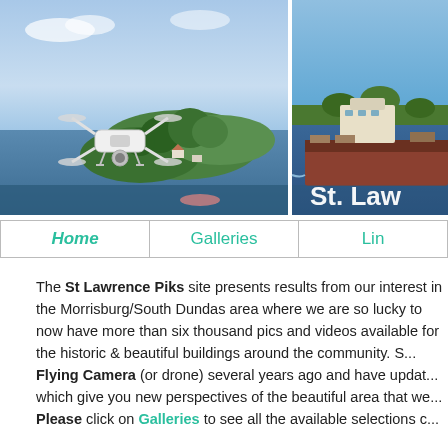[Figure (photo): Two aerial/drone photos side by side: left shows a drone (quadcopter) flying over an island with green trees and water (river scene), right shows a large cargo ship on a river/canal with blue sky. Text 'St. Law' is partially visible on the right image in white bold font.]
Home | Galleries | Lin
The St Lawrence Piks site presents results from our interest in the Morrisburg/South Dundas area where we are so lucky to now have more than six thousand pics and videos available for the historic & beautiful buildings around the community. S... Flying Camera (or drone) several years ago and have updat... which give you new perspectives of the beautiful area that we...
Please click on Galleries to see all the available selections c...